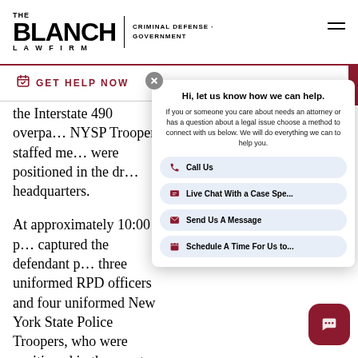[Figure (logo): The Blanch Law Firm logo with 'CRIMINAL DEFENSE · GOVERNMENT' text and hamburger menu icon]
GET HELP NOW
the Interstate 490 overpa… NYSP Troopers staffed me… were positioned in the dr… headquarters.
At approximately 10:00 p… captured the defendant p… three uniformed RPD officers and four uniformed New York State Police Troopers, who were positioned in the area to control the crowd and prevent a breach of the barricades. The victim
[Figure (screenshot): Chat popup widget: 'Hi, let us know how we can help.' with options: Call Us, Live Chat With a Case Spe..., Send Us A Message, Schedule A Time For Us to...]
[Figure (other): Dark red chat bubble button in bottom-right corner]